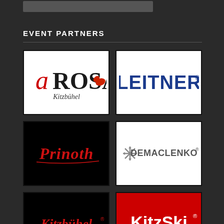EVENT PARTNERS
[Figure (logo): a ROSA Kitzbühel logo - red 'a', black 'ROSA' with red floral decoration, 'Kitzbühel' below in black cursive, white background]
[Figure (logo): LEITNER logo - bold blue uppercase text 'LEITNER' with registered trademark symbol, white background]
[Figure (logo): Prinoth logo - red stylized italic script 'Prinoth' text, black background]
[Figure (logo): DEMAC LENKO logo - snowflake/gear icon on left, 'DEMACLENKO' in gray uppercase with registered trademark, white background]
[Figure (logo): Kitzbühel logo - red stylized gothic/decorative text 'Kitzbühel' with registered trademark, black background]
[Figure (logo): KitzSki logo - white bold text 'KitzSki' on red background with registered trademark]